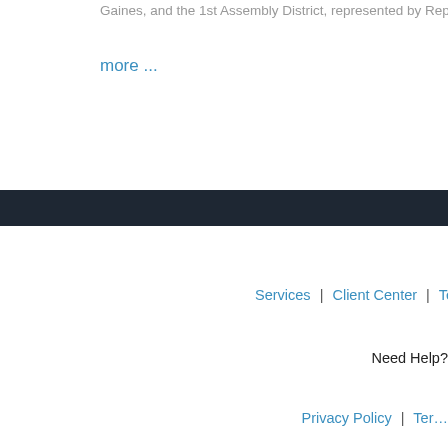Gaines, and the 1st Assembly District, represented by Republican B…
more ...
Services | Client Center | Testimonials |
Need Help?
Privacy Policy | Ter…
Lemon Law Attorney Group is a division of the Genesis Law Group… only. Nothing on this site should be taken as legal advice for any ind… create, and receipt or viewing of this information does not constitute, a…
LOCATION DISCLAIMER: Lemon Law Attorney Group has a main c… an advanced appointment basis for meetings and depositions.